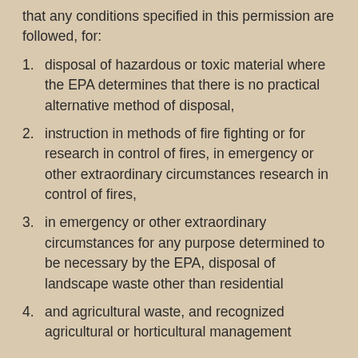that any conditions specified in this permission are followed, for:
disposal of hazardous or toxic material where the EPA determines that there is no practical alternative method of disposal,
instruction in methods of fire fighting or for research in control of fires, in emergency or other extraordinary circumstances research in control of fires,
in emergency or other extraordinary circumstances for any purpose determined to be necessary by the EPA, disposal of landscape waste other than residential
and agricultural waste, and recognized agricultural or horticultural management